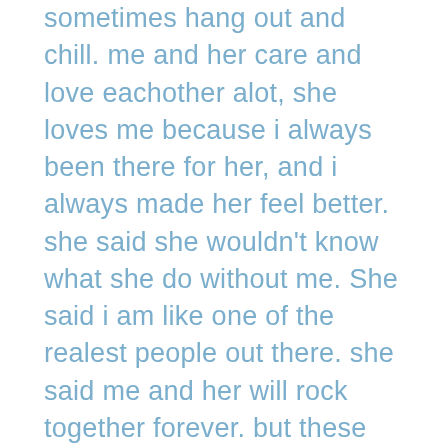sometimes hang out and chill. me and her care and love eachother alot, she loves me because i always been there for her, and i always made her feel better. she said she wouldn't know what she do without me. She said i am like one of the realest people out there. she said me and her will rock together forever. but these past 7 days i feel like me and her were getting dry, like if our bond wasn't the same , like if something was wrong with her. I miss texting her more, laughing and having funny and enjoyable convos, where we texted more and she replied faster. I noticed she has been sleeping in all day until 5 or 6pm , and she goes to bed earlier then usual, it made no sense to me. She also hasn't been texting anybody that much and she hasn't been on social media